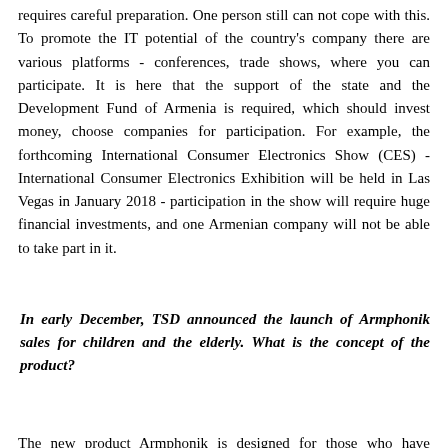requires careful preparation. One person still can not cope with this. To promote the IT potential of the country's company there are various platforms - conferences, trade shows, where you can participate. It is here that the support of the state and the Development Fund of Armenia is required, which should invest money, choose companies for participation. For example, the forthcoming International Consumer Electronics Show (CES) - International Consumer Electronics Exhibition will be held in Las Vegas in January 2018 - participation in the show will require huge financial investments, and one Armenian company will not be able to take part in it.
In early December, TSD announced the launch of Armphonik sales for children and the elderly. What is the concept of the product?
The new product Armphonik is designed for those who have difficulties with dialing numbers. In addition, giving a 5-year-old child who goes to kindergarten in the hands of a smartphone with Internet connection, has no reason. Armphonik can not be connected to the Internet, however, you can